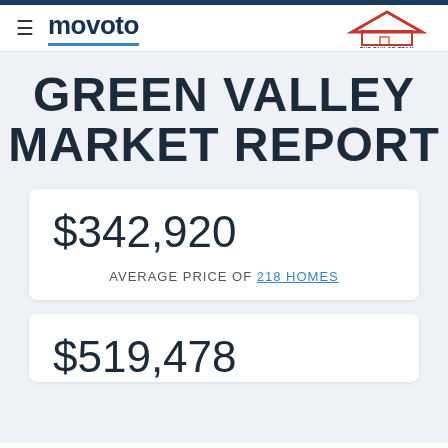movoto / THE TAYLOR TEAM
GREEN VALLEY MARKET REPORT
$342,920
AVERAGE PRICE OF 218 HOMES
$519,478